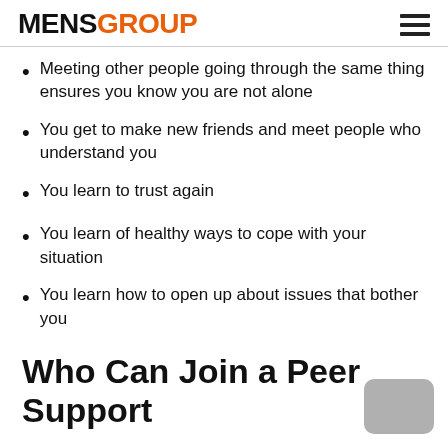MENSGROUP
Meeting other people going through the same thing ensures you know you are not alone
You get to make new friends and meet people who understand you
You learn to trust again
You learn of healthy ways to cope with your situation
You learn how to open up about issues that bother you
Who Can Join a Peer Support Group?